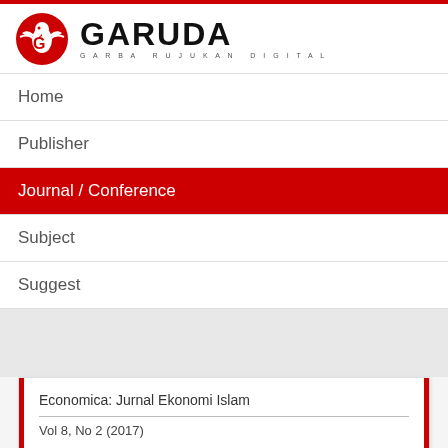[Figure (logo): GARUDA - Garba Rujukan Digital logo with red eagle emblem and black bold text]
Home
Publisher
Journal / Conference
Subject
Suggest
Economica: Jurnal Ekonomi Islam
Vol 8, No 2 (2017)